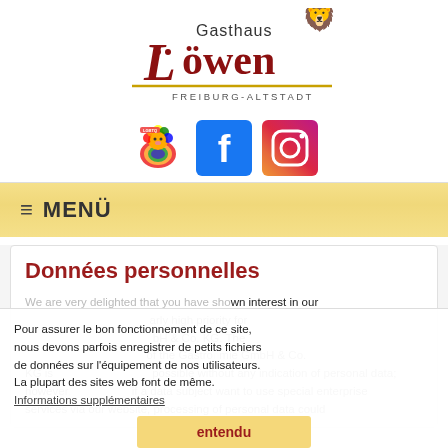[Figure (logo): Gasthaus Löwen logo with lion illustration, text 'Gasthaus Löwen' and 'FREIBURG-ALTSTADT' subtitle, with rainbow lion, Facebook, and Instagram icons below]
☰ MENÜ
Données personnelles
We are very delighted that you have shown interest in our ... arly high priority for ... bH & Co. KG. The ... of the Gastro... mie GmbH & Co. KG is possible without any indication of personal data; however, if a data subject want to use special enterprise services via our website, processing of personal data could
Pour assurer le bon fonctionnement de ce site, nous devons parfois enregistrer de petits fichiers de données sur l'équipement de nos utilisateurs. La plupart des sites web font de même. Informations supplémentaires
entendu